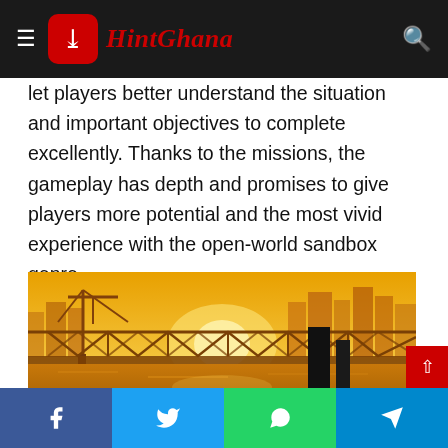HintGhana
let players better understand the situation and important objectives to complete excellently. Thanks to the missions, the gameplay has depth and promises to give players more potential and the most vivid experience with the open-world sandbox genre.
[Figure (photo): GTA-style open-world game screenshot showing a city bridge over a river at golden sunset/dusk, with industrial cranes, city skyline, a dark monolith structure, a parked car, and a character silhouette in the foreground.]